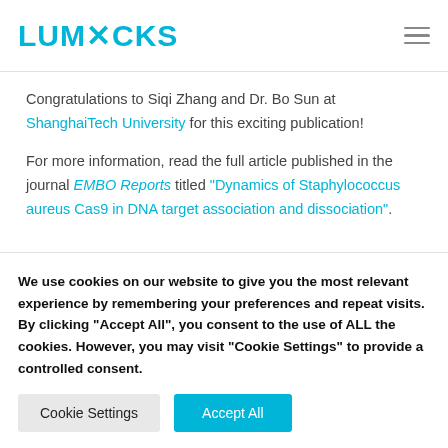LUMXCKS
Congratulations to Siqi Zhang and Dr. Bo Sun at ShanghaiTech University for this exciting publication!
For more information, read the full article published in the journal EMBO Reports titled "Dynamics of Staphylococcus aureus Cas9 in DNA target association and dissociation".
We use cookies on our website to give you the most relevant experience by remembering your preferences and repeat visits. By clicking "Accept All", you consent to the use of ALL the cookies. However, you may visit "Cookie Settings" to provide a controlled consent.